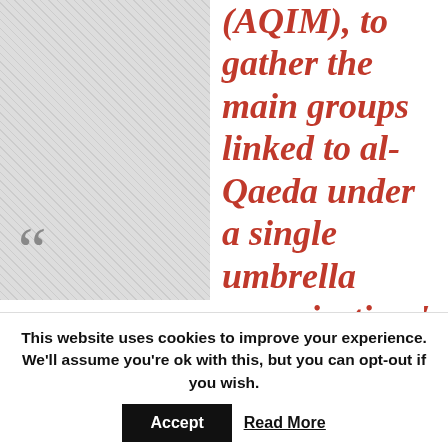[Figure (photo): Hatched/crosshatched gray image placeholder with a quotation mark in the lower left corner]
(AQIM), to gather the main groups linked to al-Qaeda under a single umbrella organisation '
One of the most dangerous and dynamic Islamist extremist formations in the area is Jama'ah Nusrah al-Islam wal-Muslimin (Group for the Support of Islam and Muslims – JNIM/GSIM). The JNIM was established in early March 2017, under the aegis of al-Qaeda in the Islamic Maghreb (AQIM), to gather the main al-Qaida linked groups active in Mali and the Sahel desert areas under a single umbrella organisation. Specifically, the merger involved al-Murabitun, Ansar Eddine and its affiliates from the Macina Brigade, later renamed as Macina Liberation Front.
This website uses cookies to improve your experience. We'll assume you're ok with this, but you can opt-out if you wish.
Accept
Read More